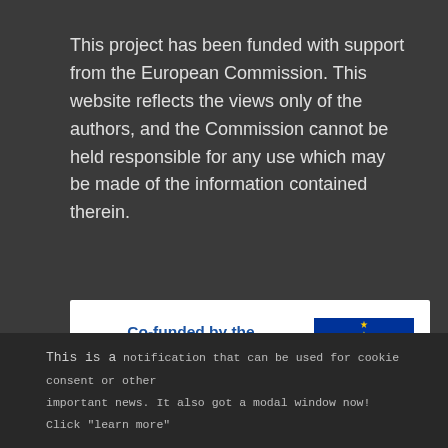This project has been funded with support from the European Commission. This website reflects the views only of the authors, and the Commission cannot be held responsible for any use which may be made of the information contained therein.
[Figure (logo): Erasmus+ Programme Co-funded by the European Union logo with EU flag showing blue background and circle of yellow stars]
This is a notification that can be used for cookie consent or other important news. It also got a modal window now! Click "learn more"